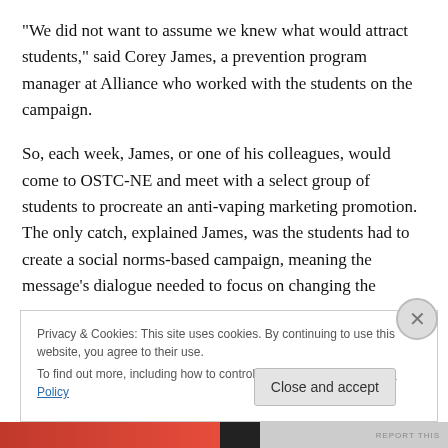“We did not want to assume we knew what would attract students,” said Corey James, a prevention program manager at Alliance who worked with the students on the campaign.
So, each week, James, or one of his colleagues, would come to OSTC-NE and meet with a select group of students to procreate an anti-vaping marketing promotion. The only catch, explained James, was the students had to create a social norms-based campaign, meaning the message’s dialogue needed to focus on changing the
Privacy & Cookies: This site uses cookies. By continuing to use this website, you agree to their use.
To find out more, including how to control cookies, see here: Cookie Policy
Close and accept